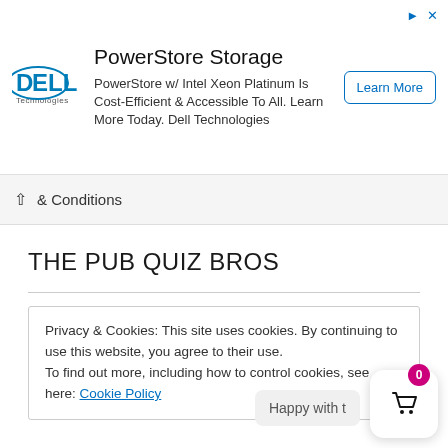[Figure (screenshot): Dell Technologies logo and PowerStore Storage advertisement banner with Learn More button]
& Conditions
THE PUB QUIZ BROS
Copyright 2022 All Rights Reserved
Privacy & Cookies: This site uses cookies. By continuing to use this website, you agree to their use.
To find out more, including how to control cookies, see here: Cookie Policy